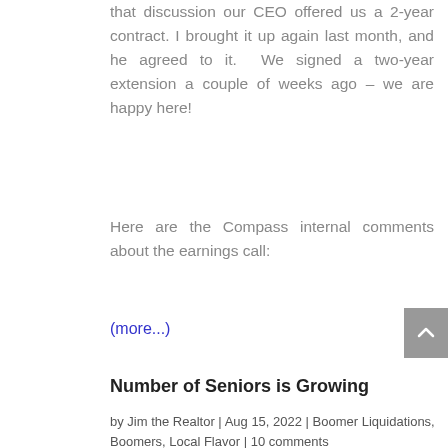that discussion our CEO offered us a 2-year contract. I brought it up again last month, and he agreed to it.  We signed a two-year extension a couple of weeks ago – we are happy here!
Here are the Compass internal comments about the earnings call:
(more...)
Number of Seniors is Growing
by Jim the Realtor | Aug 15, 2022 | Boomer Liquidations, Boomers, Local Flavor | 10 comments